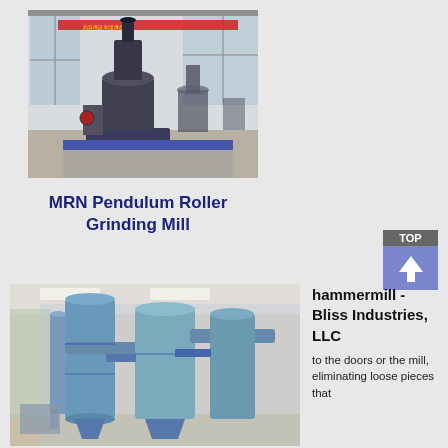[Figure (photo): Industrial grinding mill machines displayed in a large warehouse or factory floor with red banner decorations overhead]
MRN Pendulum Roller Grinding Mill
[Figure (infographic): TOP button with upward arrow, grey label on top and blue-purple background]
[Figure (photo): Blue industrial hammermill machinery with pipes and ducts in a factory setting]
hammermill - Bliss Industries, LLC
to the doors or the mill, eliminating loose pieces that